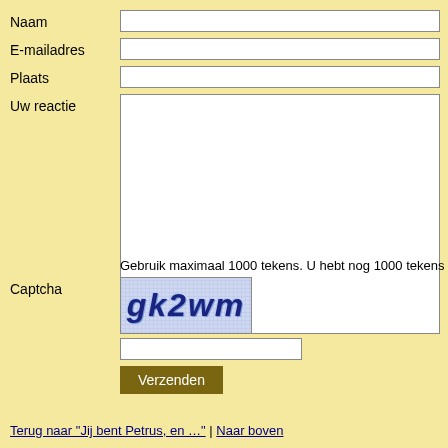Naam
E-mailadres
Plaats
Uw reactie
Gebruik maximaal 1000 tekens. U hebt nog 1000 tekens
Captcha
[Figure (other): CAPTCHA image showing text 'gk2wm' in stylized blue letters on a speckled background]
Verzenden
Terug naar "Jij bent Petrus, en ..." | Naar boven